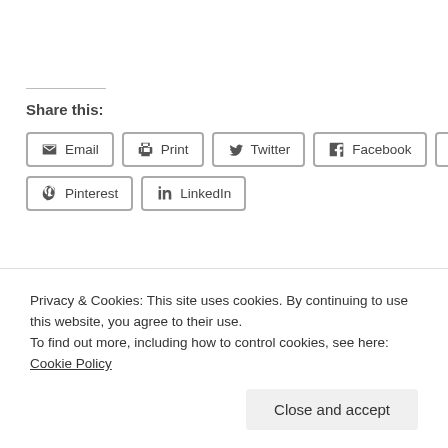Share this:
Email
Print
Twitter
Facebook
Tumblr
Pinterest
LinkedIn
Privacy & Cookies: This site uses cookies. By continuing to use this website, you agree to their use.
To find out more, including how to control cookies, see here: Cookie Policy
Close and accept